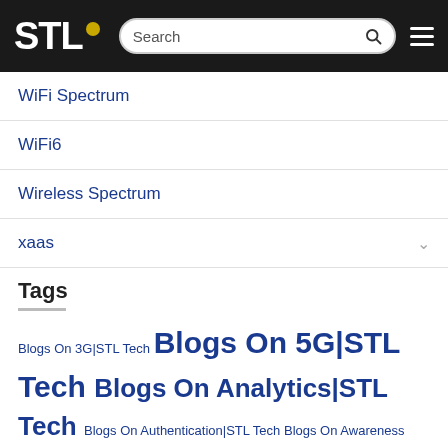STL [logo] Search [hamburger menu]
WiFi Spectrum
WiFi6
Wireless Spectrum
xaas
Tags
Blogs On 3G|STL Tech Blogs On 5G|STL Tech Blogs On Analytics|STL Tech Blogs On Authentication|STL Tech Blogs On Awareness Programme|STL Tech Blogs On Big Data|STL Tech Blogs On Boss|STL Tech Blogs On Bss|STL Tech Blogs On Cloud Computing|STL Tech Blogs On Covid 19|STL Tech Blogs On Csps|STL Tech Blogs On Csp|STL Tech Blogs On ...